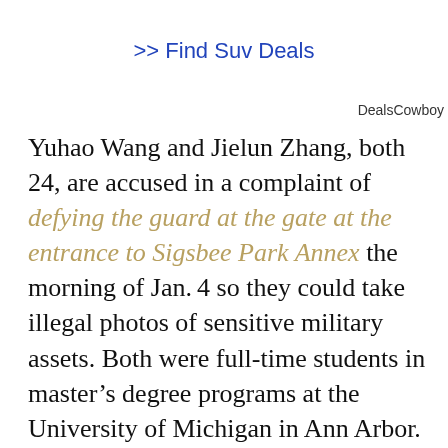>> Find Suv Deals
DealsCowboy
Yuhao Wang and Jielun Zhang, both 24, are accused in a complaint of defying the guard at the gate at the entrance to Sigsbee Park Annex the morning of Jan. 4 so they could take illegal photos of sensitive military assets. Both were full-time students in master’s degree programs at the University of Michigan in Ann Arbor. They are in jail awaiting the resolution of their cases. A trial is set for March 2 before Moore in Key West